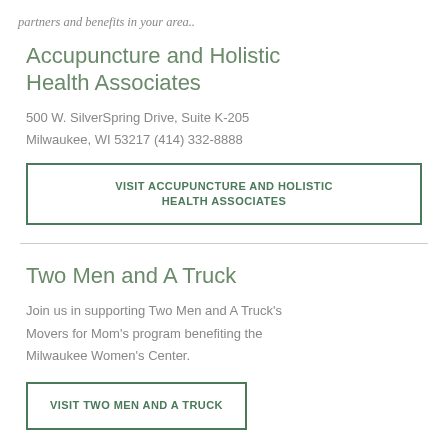partners and benefits in your area..
Accupuncture and Holistic Health Associates
500 W. SilverSpring Drive, Suite K-205
Milwaukee, WI 53217 (414) 332-8888
VISIT ACCUPUNCTURE AND HOLISTIC HEALTH ASSOCIATES
Two Men and A Truck
Join us in supporting Two Men and A Truck's Movers for Mom's program benefiting the Milwaukee Women's Center.
VISIT TWO MEN AND A TRUCK